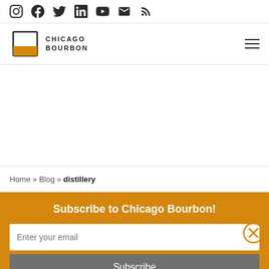Social media icons: Instagram, Facebook, Twitter, LinkedIn, YouTube, Email, RSS
[Figure (logo): Chicago Bourbon logo with glass icon and text CHICAGO BOURBON]
[Figure (other): Empty banner/advertisement area]
Home » Blog » distillery
Subscribe to Chicago Bourbon!
Enter your email
Subscribe